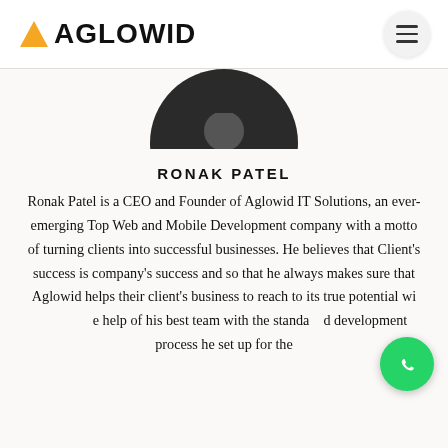AGLOWID
[Figure (photo): Circular cropped photo of Ronak Patel, a man in a dark suit, partially visible from the top of the frame]
RONAK PATEL
Ronak Patel is a CEO and Founder of Aglowid IT Solutions, an ever-emerging Top Web and Mobile Development company with a motto of turning clients into successful businesses. He believes that Client's success is company's success and so that he always makes sure that Aglowid helps their client's business to reach to its true potential with the help of his best team with the standard development process he set up for the company.